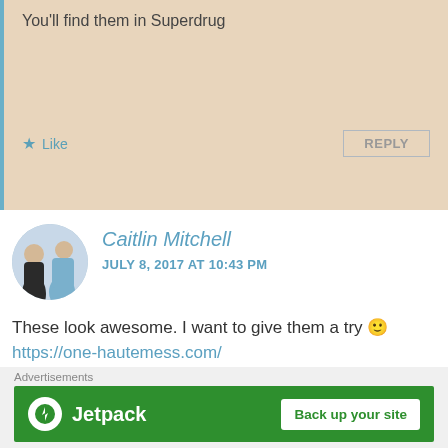You'll find them in Superdrug
Like
REPLY
[Figure (photo): Circular avatar photo of Caitlin Mitchell showing two people, one in jeans and white top, one in blue/grey outfit]
Caitlin Mitchell
JULY 8, 2017 AT 10:43 PM
These look awesome. I want to give them a try 🙂
https://one-hautemess.com/
Liked by 1 person
REPLY
Pingback: It's Another One of Those Superdrug Hauls.. Oops – beccapbeauty
[Figure (screenshot): Jetpack advertisement banner with green background, Jetpack logo, and 'Back up your site' button]